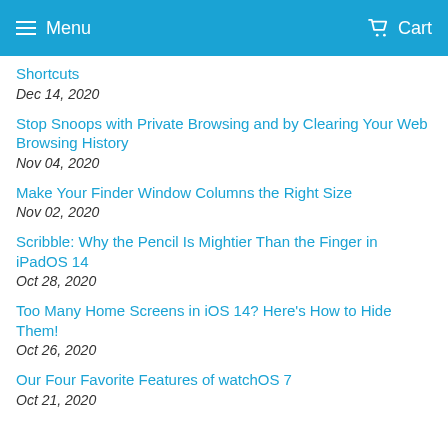Menu  Cart
Shortcuts
Dec 14, 2020
Stop Snoops with Private Browsing and by Clearing Your Web Browsing History
Nov 04, 2020
Make Your Finder Window Columns the Right Size
Nov 02, 2020
Scribble: Why the Pencil Is Mightier Than the Finger in iPadOS 14
Oct 28, 2020
Too Many Home Screens in iOS 14? Here's How to Hide Them!
Oct 26, 2020
Our Four Favorite Features of watchOS 7
Oct 21, 2020